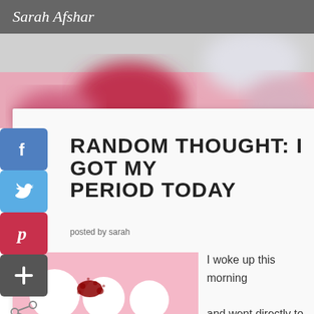Sarah Afshar
[Figure (photo): Blurred pink and gray abstract hero image with circular shapes]
Random thought: I got my period today
posted by sarah
[Figure (photo): Pink background with white balloon-like spheres and red splatter pattern]
I woke up this morning and went directly to the bathroom, only to